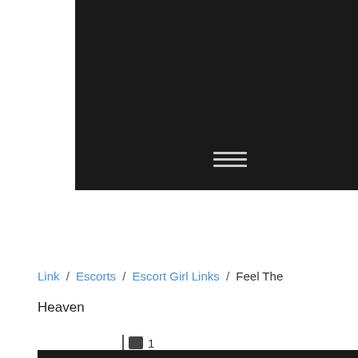[Figure (screenshot): Dark black header/navigation bar area with a hamburger menu icon (three horizontal lines) centered near the bottom of the black area]
Link / Escorts / Escort Girl Links / Feel The Heaven
1
[Figure (screenshot): Bottom black content area beginning]